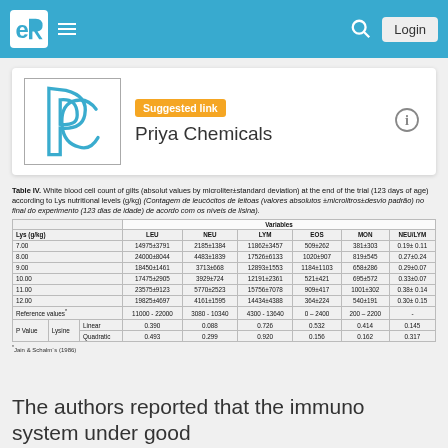Priya Chemicals - Suggested link
[Figure (logo): Priya Chemicals company logo with stylized P and C letters in blue]
Suggested link
Priya Chemicals
Table IV. White blood cell count of gilts (absolut values by microliter±standard deviation) at the end of the trial (123 days of age) according to Lys nutritional levels (g/kg) (Contagem de leucócitos de leitoas (valores absolutos ±microlitros±desvio padrão) no final do experimento (123 dias de idade) de acordo com os níveis de lisina).
| Lys (g/kg) |  |  | LEU | NEU | LYM | EOS | MON | NEU/LYM |
| --- | --- | --- | --- | --- | --- | --- | --- | --- |
| 7.00 |  |  | 14975±3791 | 2185±1384 | 11862±3457 | 509±262 | 381±303 | 0.19± 0.11 |
| 8.00 |  |  | 24000±8044 | 4483±1839 | 17526±6133 | 1020±907 | 819±545 | 0.27±0.24 |
| 9.00 |  |  | 18450±1461 | 3713±668 | 12893±1553 | 1184±1103 | 658±286 | 0.29±0.07 |
| 10.00 |  |  | 17475±2905 | 3929±724 | 12191±2361 | 521±421 | 695±572 | 0.33±0.07 |
| 11.00 |  |  | 23575±9123 | 5770±2523 | 15756±7078 | 909±417 | 1001±302 | 0.38± 0.14 |
| 12.00 |  |  | 19825±4697 | 4161±1595 | 14434±4388 | 364±224 | 540±191 | 0.30± 0.15 |
| Reference values* |  |  | 11000 - 22000 | 3080 - 10340 | 4300 - 13640 | 0 – 2400 | 200 – 2200 | - |
| P Value | Lysine | Linear | 0.390 | 0.088 | 0.726 | 0.532 | 0.414 | 0.145 |
|  |  | Quadratic | 0.493 | 0.299 | 0.920 | 0.156 | 0.162 | 0.317 |
*Jain & Schalm´s (1986)
The authors reported that the immuno system under good